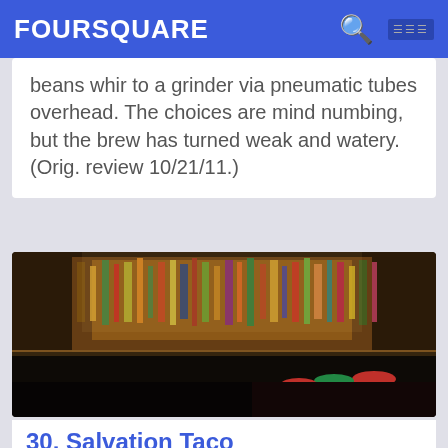FOURSQUARE
beans whir to a grinder via pneumatic tubes overhead. The choices are mind numbing, but the brew has turned weak and watery. (Orig. review 10/21/11.)
[Figure (photo): Interior photo of a bar with a long counter, rows of colorful liquor bottles on shelves, and red/green bar stools]
30. Salvation Taco
145 E 39th St (btwn 3rd & Lexington Ave.), 미드타운, NY